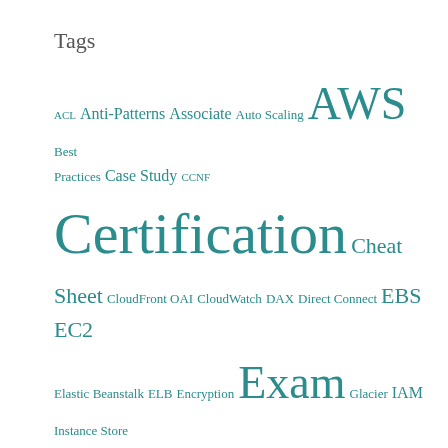Tags
[Figure (infographic): Tag cloud with AWS/cloud certification related terms in varying font sizes and teal color. Terms include: ACL, Anti-Patterns, Associate, Auto Scaling, AWS, Best Practices, Case Study, CCNF, Certification, Cheat Sheet, CloudFront OAI, CloudWatch, DAX, Direct Connect, EBS, EC2, Elastic Beanstalk, ELB, Encryption, Exam, Glacier, IAM, Instance Store, KMS, Monitoring, NAT Gateway, Networking, Origin Access Identity, PCA Case Study, Practice Questions, Professional, S3, Sample Questions, Secondary Indexes, Security, Snapshot, Solr, Solutions Architect, Sort Key, Specialty, Storage]